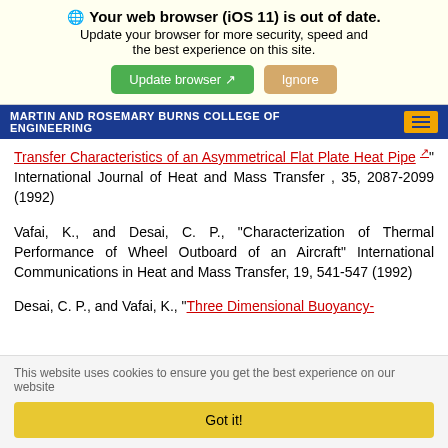[Figure (screenshot): Browser update notification banner: 'Your web browser (iOS 11) is out of date. Update your browser for more security, speed and the best experience on this site.' with Update browser and Ignore buttons.]
MARTIN AND ROSEMARY BURNS COLLEGE OF ENGINEERING
Analysis of Flow and Heat Transfer Characteristics of an Asymmetrical Flat Plate Heat Pipe" International Journal of Heat and Mass Transfer , 35, 2087-2099 (1992)
Vafai, K., and Desai, C. P., "Characterization of Thermal Performance of Wheel Outboard of an Aircraft" International Communications in Heat and Mass Transfer, 19, 541-547 (1992)
Desai, C. P., and Vafai, K., "Three Dimensional Buoyancy-
[Figure (screenshot): Cookie consent bar: 'This website uses cookies to ensure you get the best experience on our website' with a Got it! button.]